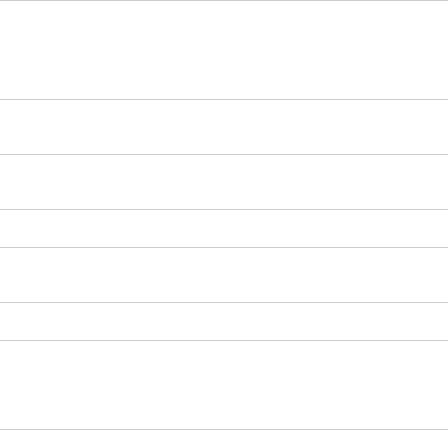| Grant/Award ID | Title/Description |
| --- | --- |
|  | Completeness Race/Ethni... |
| I01RX002905-01A2 | Transcranial... Functioning... |
| I50RX002999-01 | Center for R... Function |
| I01RX003201-01 | Shaping Pa... |
| I50HX001237-01 | Center of IN... Healthcare... |
| RCS 98-354 | Research C... |
| 2017 | CSP #2017 Characteriz... Percutaneo... POP) |
| I01BX002709-01A2 | SRSF3 Los... |
| 12F-RCS-012 | Senior Res... |
| I01RX004848 | SRSF3 do... |